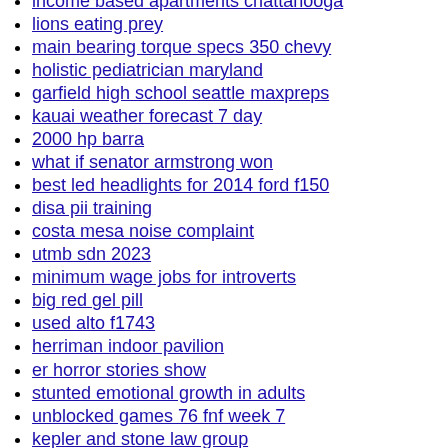income based apartments chattanooga
lions eating prey
main bearing torque specs 350 chevy
holistic pediatrician maryland
garfield high school seattle maxpreps
kauai weather forecast 7 day
2000 hp barra
what if senator armstrong won
best led headlights for 2014 ford f150
disa pii training
costa mesa noise complaint
utmb sdn 2023
minimum wage jobs for introverts
big red gel pill
used alto f1743
herriman indoor pavilion
er horror stories show
stunted emotional growth in adults
unblocked games 76 fnf week 7
kepler and stone law group
free beta hcg mom levels
drift car market
ebe awon eleye
carwash for sale eugene oregon
world bank copper price forecast 2022
food and drink table tennis